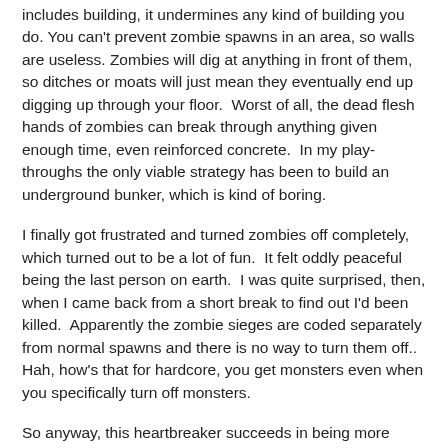includes building, it undermines any kind of building you do. You can't prevent zombie spawns in an area, so walls are useless. Zombies will dig at anything in front of them, so ditches or moats will just mean they eventually end up digging up through your floor. Worst of all, the dead flesh hands of zombies can break through anything given enough time, even reinforced concrete. In my play-throughs the only viable strategy has been to build an underground bunker, which is kind of boring.
I finally got frustrated and turned zombies off completely, which turned out to be a lot of fun. It felt oddly peaceful being the last person on earth. I was quite surprised, then, when I came back from a short break to find out I'd been killed. Apparently the zombie sieges are coded separately from normal spawns and there is no way to turn them off.. Hah, how's that for hardcore, you get monsters even when you specifically turn off monsters.
So anyway, this heartbreaker succeeds in being more realistic than minecraft, but over-does it on the difficulty aspect. Unless you enjoy killing infinite zombies forever and